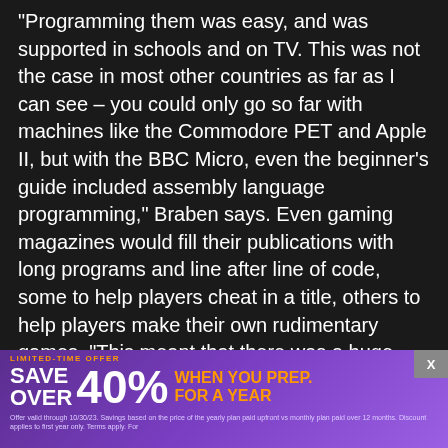“Programming them was easy, and was supported in schools and on TV. This was not the case in most other countries as far as I can see – you could only go so far with machines like the Commodore PET and Apple II, but with the BBC Micro, even the beginner’s guide included assembly language programming,” Braben says. Even gaming magazines would fill their publications with long programs and line after line of code, some to help players cheat in a title, others to help players make their own rudimentary games. “This meant that there was a huge pool of diverse people exposed to the possibility of making games, probably people that might otherwise not have thought of a career in games,” Braben continues. “Those people went on to become many of the key game developers now around the world. Sadly, many have not stayed in the U.K.”
[Figure (other): Advertisement banner overlay: LIMITED-TIME OFFER SAVE OVER 40% WHEN YOU PREP FOR A YEAR, with fine print about offer validity and discount terms. Purple gradient background with orange accent text.]